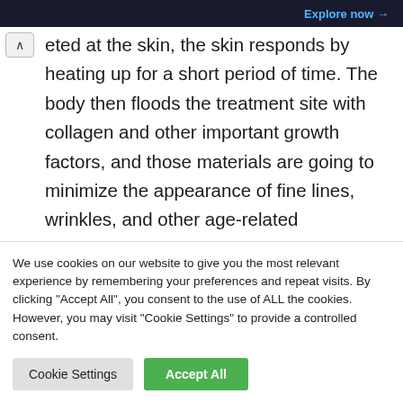Explore now →
eted at the skin, the skin responds by heating up for a short period of time. The body then floods the treatment site with collagen and other important growth factors, and those materials are going to minimize the appearance of fine lines, wrinkles, and other age-related blemishes. As a bonus, RF energy can also speed up a patient's recovery time following other cosmetic
We use cookies on our website to give you the most relevant experience by remembering your preferences and repeat visits. By clicking "Accept All", you consent to the use of ALL the cookies. However, you may visit "Cookie Settings" to provide a controlled consent.